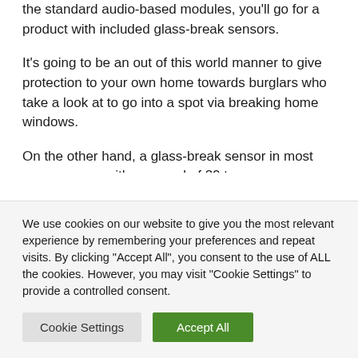the standard audio-based modules, you'll go for a product with included glass-break sensors.
It's going to be an out of this world manner to give protection to your own home towards burglars who take a look at to go into a spot via breaking home windows.
On the other hand, a glass-break sensor in most cases comes with a spread of 20 toes or so. Subsequently, you'll have to set up a minimum of
We use cookies on our website to give you the most relevant experience by remembering your preferences and repeat visits. By clicking "Accept All", you consent to the use of ALL the cookies. However, you may visit "Cookie Settings" to provide a controlled consent.